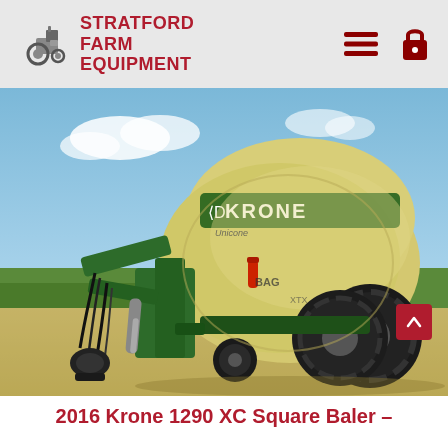STRATFORD FARM EQUIPMENT
[Figure (photo): 2016 Krone 1290 XC Square Baler - green and cream/yellow agricultural round baler photographed outdoors on a gravel surface with green fields and blue sky in background]
2016 Krone 1290 XC Square Baler –